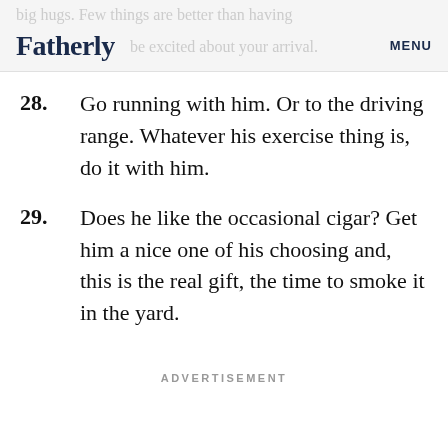Fatherly | big hugs. Few things are better than having be excited about your arrival. MENU
28. Go running with him. Or to the driving range. Whatever his exercise thing is, do it with him.
29. Does he like the occasional cigar? Get him a nice one of his choosing and, this is the real gift, the time to smoke it in the yard.
ADVERTISEMENT